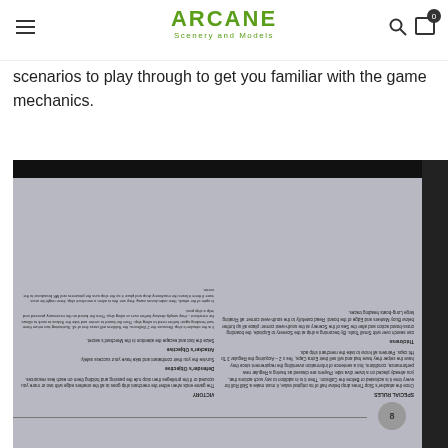ARCANE Scenery and Models — navigation header with hamburger menu, logo, search and cart icons
scenarios to play through to get you familiar with the game mechanics.
[Figure (photo): Photo of a game rulebook page photographed upside-down, showing two columns of text with section headers including VICTORY, Defender's Objective, Attacker's Objective, SPECIAL RULES, Thickness, on a dark background.]